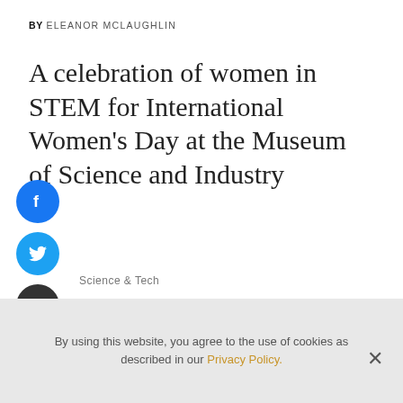BY ELEANOR MCLAUGHLIN
A celebration of women in STEM for International Women's Day at the Museum of Science and Industry
[Figure (illustration): Three social media share buttons stacked vertically: Facebook (blue circle with f icon), Twitter (light blue circle with bird icon), Email (dark gray circle with envelope icon)]
Science & Tech
By using this website, you agree to the use of cookies as described in our Privacy Policy.